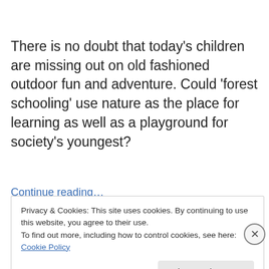There is no doubt that today's children are missing out on old fashioned outdoor fun and adventure. Could 'forest schooling' use nature as the place for learning as well as a playground for society's youngest?
Continue reading…
Privacy & Cookies: This site uses cookies. By continuing to use this website, you agree to their use.
To find out more, including how to control cookies, see here: Cookie Policy